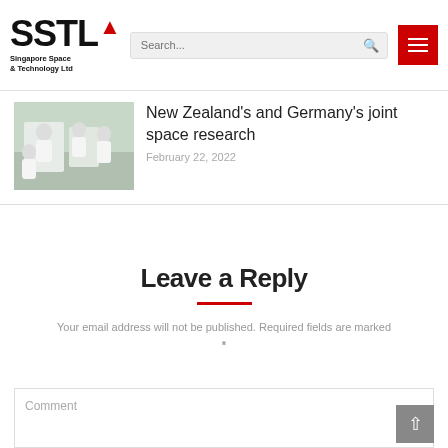[Figure (logo): SSTL logo with red arrow accent and text 'Singapore Space & Technology Ltd']
[Figure (screenshot): Search bar with placeholder text 'Search...' and search icon]
[Figure (other): Red hamburger menu button with three white horizontal lines]
[Figure (photo): Thumbnail photo of people in white lab coats in a laboratory setting]
New Zealand's and Germany's joint space research
February 22, 2022
Leave a Reply
Your email address will not be published. Required fields are marked *
Comment